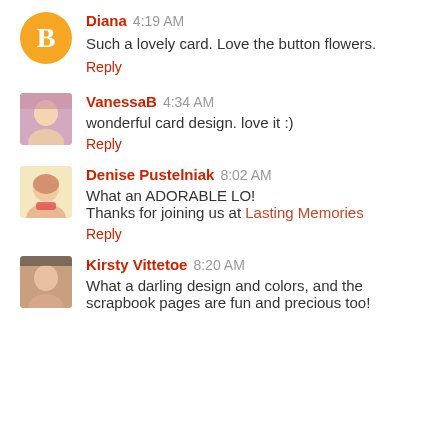Diana 4:19 AM
Such a lovely card. Love the button flowers.
Reply
VanessaB 4:34 AM
wonderful card design. love it :)
Reply
Denise Pustelniak 8:02 AM
What an ADORABLE LO!
Thanks for joining us at Lasting Memories
Reply
Kirsty Vittetoe 8:20 AM
What a darling design and colors, and the scrapbook pages are fun and precious too!